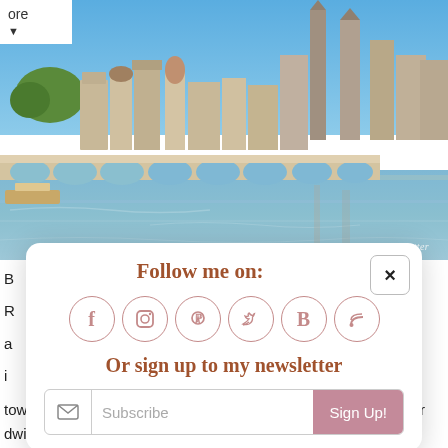[Figure (photo): Photograph of Regensburg, Germany showing the Stone Bridge over the Danube river with the medieval city skyline and cathedral spires in the background under a clear blue sky. Watermark reads 'Caliclobetrotter' in bottom right corner.]
ore
B
R
a
i
[Figure (screenshot): Modal popup overlay with 'Follow me on:' title in brown handwritten font, six social media icons (Facebook, Instagram, Pinterest, Twitter, Bloglovin, RSS) in pink outlined circles, 'Or sign up to my newsletter' text in brown handwritten font, and a subscribe input bar with envelope icon, Subscribe placeholder text, and pink 'Sign Up!' button. Close button (x) in top right corner.]
town itself managed to preserve its quaint medieval charm after dwindling to insignificance after the Thirty Years' War,